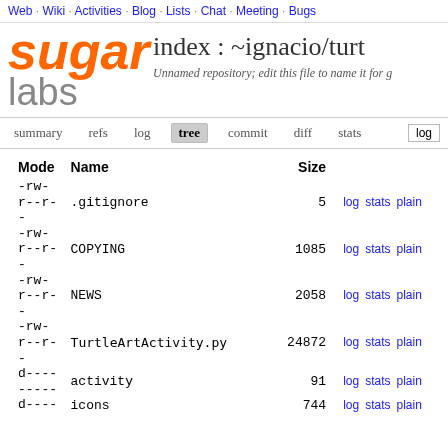Web · Wiki · Activities · Blog · Lists · Chat · Meeting · Bugs
sugar labs — index : ~ignacio/turt
Unnamed repository; edit this file to name it for g
summary  refs  log  tree  commit  diff  stats  log
| Mode | Name | Size |  |  |  |
| --- | --- | --- | --- | --- | --- |
| -rw-
r--r-
- | .gitignore | 5 | log | stats | plain |
| -rw-
r--r-
- | COPYING | 1085 | log | stats | plain |
| -rw-
r--r-
- | NEWS | 2058 | log | stats | plain |
| -rw-
r--r-
- | TurtleArtActivity.py | 24872 | log | stats | plain |
| d----
----- | activity | 91 | log | stats | plain |
| d---- | icons | 744 | log | stats | plain |